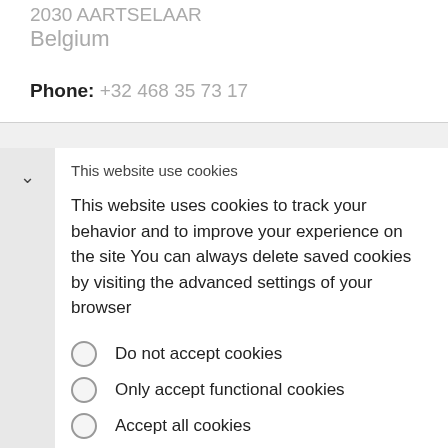2030 AARTSELAAR
Belgium
Phone: +32 468 35 73 17
This website use cookies
This website uses cookies to track your behavior and to improve your experience on the site You can always delete saved cookies by visiting the advanced settings of your browser
Do not accept cookies
Only accept functional cookies
Accept all cookies